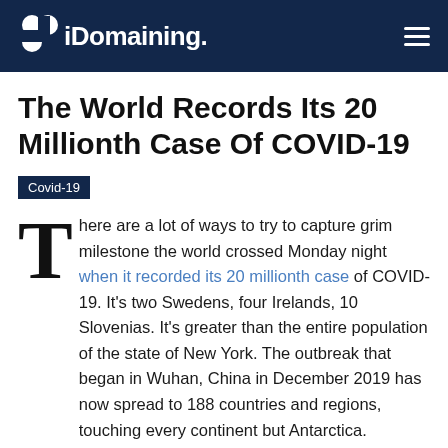iDomaining.
The World Records Its 20 Millionth Case Of COVID-19
Covid-19
There are a lot of ways to try to capture grim milestone the world crossed Monday night when it recorded its 20 millionth case of COVID-19. It's two Swedens, four Irelands, 10 Slovenias. It's greater than the entire population of the state of New York. The outbreak that began in Wuhan, China in December 2019 has now spread to 188 countries and regions, touching every continent but Antarctica.
The U.S. continues to lead the world in total cases, having crossed its own milestone—to 5 million—on August 9. Brazil comes next, with 3 million; followed by India at 2.2 million;